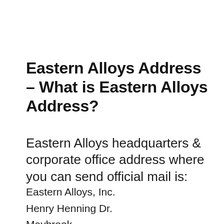Eastern Alloys Address – What is Eastern Alloys Address?
Eastern Alloys headquarters & corporate office address where you can send official mail is:
Eastern Alloys, Inc.
Henry Henning Dr.
Maybrook